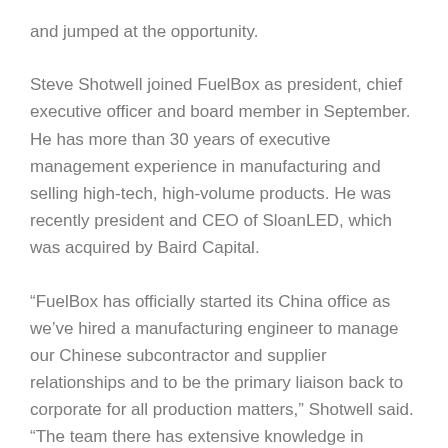and jumped at the opportunity.
Steve Shotwell joined FuelBox as president, chief executive officer and board member in September. He has more than 30 years of executive management experience in manufacturing and selling high-tech, high-volume products. He was recently president and CEO of SloanLED, which was acquired by Baird Capital.
“FuelBox has officially started its China office as we’ve hired a manufacturing engineer to manage our Chinese subcontractor and supplier relationships and to be the primary liaison back to corporate for all production matters,” Shotwell said. “The team there has extensive knowledge in electronics manufacturing, engineering, process and quality experience.”